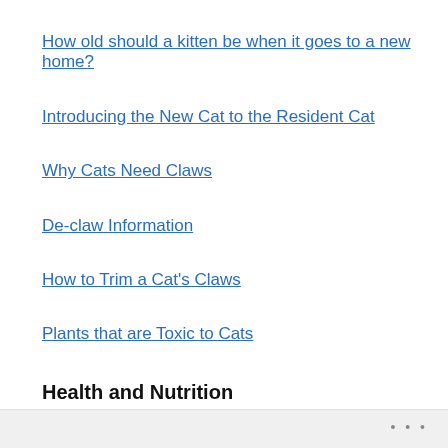How old should a kitten be when it goes to a new home?
Introducing the New Cat to the Resident Cat
Why Cats Need Claws
De-claw Information
How to Trim a Cat's Claws
Plants that are Toxic to Cats
Health and Nutrition
RainForest Food & Supplements
• • •